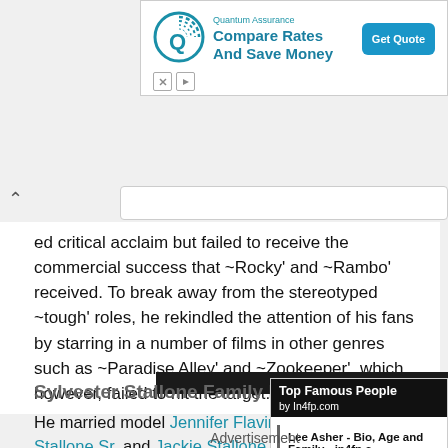[Figure (screenshot): Advertisement banner for Quantum Assurance with logo, 'Compare Rates And Save Money' text, and 'Get Quote' button]
ed critical acclaim but failed to receive the commercial success that ~Rocky' and ~Rambo' received. To break away from the stereotyped ~tough' roles, he rekindled the attention of his fans by starring in a number of films in other genres such as ~Paradise Alley' and ~Zookeeper', which, however, failed to hit the target.
Sylvester Stallone Family life[🔗]
He married model Jennifer Flavin in 1997. Hi... Stallone Sr. and Jackie Stallone. He raised th... named Sistine, Sophia and Scarlet and two s... and Seargeoh.
[Figure (screenshot): Top Famous People by In4fp sidebar widget with Lee Asher - Bio, Age and Family - in4fp.c link]
Advertisement